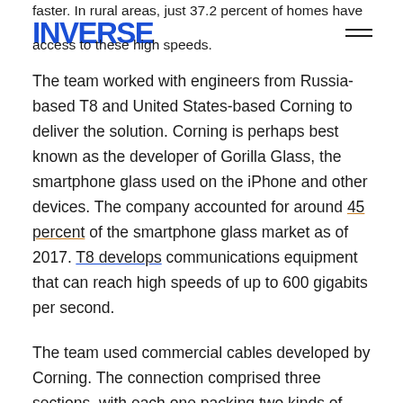INVERSE
faster. In rural areas, just 37.2 percent of homes have access to these high speeds.
The team worked with engineers from Russia-based T8 and United States-based Corning to deliver the solution. Corning is perhaps best known as the developer of Gorilla Glass, the smartphone glass used on the iPhone and other devices. The company accounted for around 45 percent of the smartphone glass market as of 2017. T8 develops communications equipment that can reach high speeds of up to 600 gigabits per second.
The team used commercial cables developed by Corning. The connection comprised three sections, with each one packing two kinds of fiber optic cables in series. Remote optically pumped erbium amplifiers were used in between each section, the first one placed 76